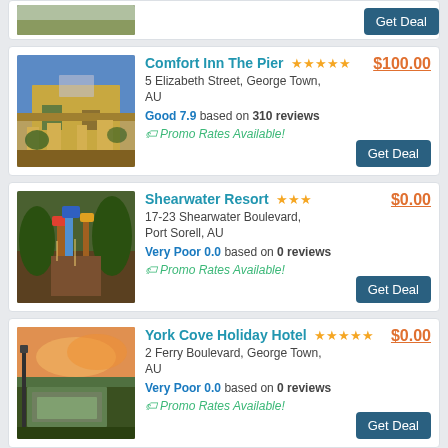[Figure (photo): Partial hotel listing card at top with a landscape/field image and a Get Deal button]
Comfort Inn The Pier ★★★★½ $100.00
5 Elizabeth Street, George Town, AU
Good 7.9 based on 310 reviews
🏷 Promo Rates Available!
[Figure (photo): Photo of Comfort Inn The Pier hotel building - a yellow stone two-story building]
Shearwater Resort ★★★ $0.00
17-23 Shearwater Boulevard, Port Sorell, AU
Very Poor 0.0 based on 0 reviews
🏷 Promo Rates Available!
[Figure (photo): Photo of playground equipment at Shearwater Resort]
York Cove Holiday Hotel ★★★★½ $0.00
2 Ferry Boulevard, George Town, AU
Very Poor 0.0 based on 0 reviews
🏷 Promo Rates Available!
[Figure (photo): Photo of York Cove Holiday Hotel at sunset with a street lamp]